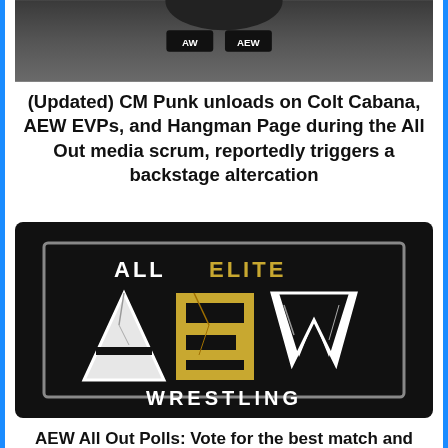[Figure (photo): Cropped photo of a person wearing an AEW-branded jacket/hoodie, showing text AW AEW on the chest area]
(Updated) CM Punk unloads on Colt Cabana, AEW EVPs, and Hangman Page during the All Out media scrum, reportedly triggers a backstage altercation
[Figure (logo): All Elite Wrestling (AEW) logo on black background — stylized letters AEW in white with gold/yellow cracked texture, text ALL ELITE above and WRESTLING below]
AEW All Out Polls: Vote for the best match and grade the overall show